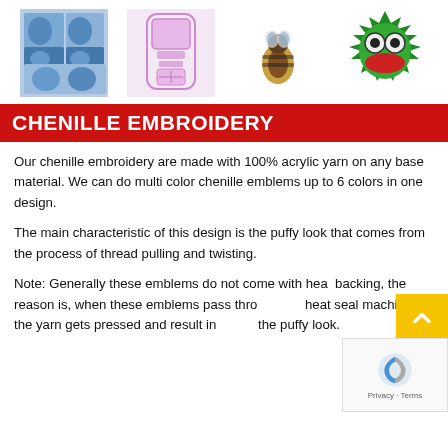[Figure (illustration): Four embroidery/chenille sample images in a row: faces/portraits in blue tones, a pink jukebox design, a bee/insect design, and Kermit the Frog green design]
CHENILLE EMBROIDERY
Our chenille embroidery are made with 100% acrylic yarn on any base material. We can do multi color chenille emblems up to 6 colors in one design.
The main characteristic of this design is the puffy look that comes from the process of thread pulling and twisting.
Note: Generally these emblems do not come with heat backing, the reason is, when these emblems pass through heat seal machine the yarn gets pressed and result in losing the puffy look.